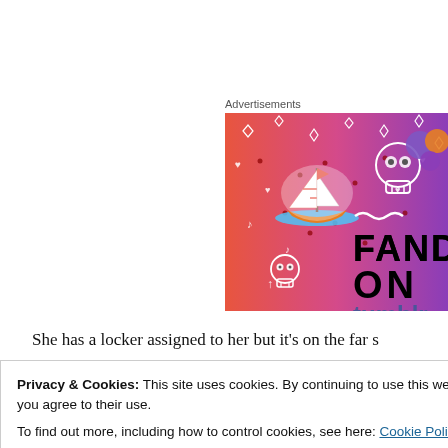Advertisements
[Figure (illustration): Fandom advertisement banner with colorful orange-to-purple gradient background, a sailboat sticker, skull icons, and text reading FANDOM ON with tumblr logo partially visible]
She has a locker assigned to her but it’s on the far s
Privacy & Cookies: This site uses cookies. By continuing to use this website, you agree to their use.
To find out more, including how to control cookies, see here: Cookie Policy
We wouldn’t see her for a day or two, but then she’d